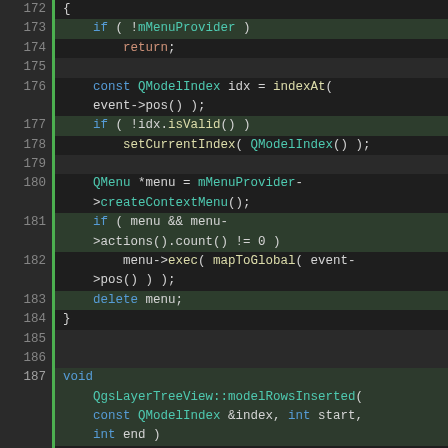[Figure (screenshot): Source code editor screenshot showing C++ code for QgsLayerTreeView class methods, lines 172-194, with syntax highlighting. Dark theme with green, orange, teal, and gray colored tokens. Line numbers in left gutter with green vertical bar indicators on certain lines.]